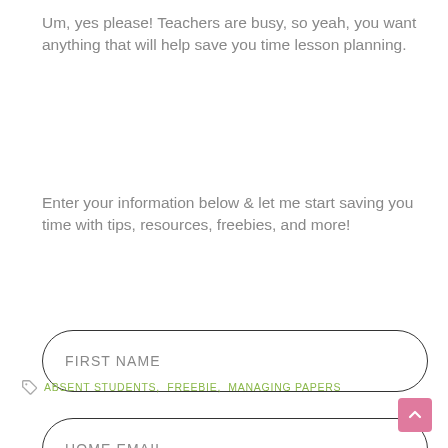Um, yes please! Teachers are busy, so yeah, you want anything that will help save you time lesson planning.
Enter your information below & let me start saving you time with tips, resources, freebies, and more!
FIRST NAME
HOME EMAIL
I WANT TO SAVE TIME PLANNING!
ABSENT STUDENTS, FREEBIE, MANAGING PAPERS